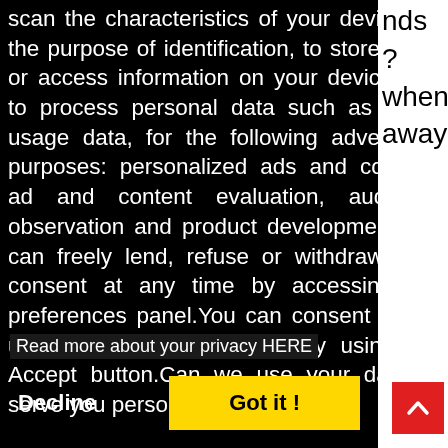scan the characteristics of your device for the purpose of identification, to store and / or access information on your device and to process personal data such as yours usage data, for the following advertising purposes: personalized ads and content, ad and content evaluation, audience observation and product development.You can freely lend, refuse or withdraw your consent at any time by accessing the preferences panel.You can consent to the use of these technologies by using the Accept button.Can we use your data to serve you personalized ads?
Read more about your privacy HERE
nds ? when away